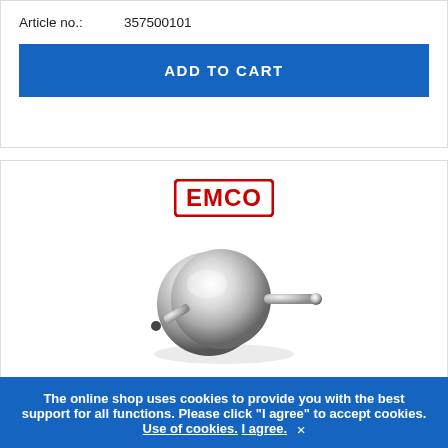Article no.: 357500101
ADD TO CART
[Figure (photo): EMCO logo (red text on white background with red border) above a chrome bathroom toilet paper holder product photo — cylindrical chrome holder with a horizontal bar]
The online shop uses cookies to provide you with the best support for all functions. Please click "I agree" to accept cookies. Use of cookies. I agree. ×